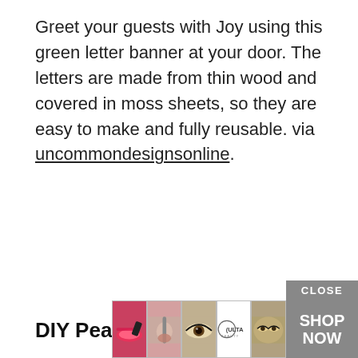Greet your guests with Joy using this green letter banner at your door. The letters are made from thin wood and covered in moss sheets, so they are easy to make and fully reusable. via uncommondesignsonline.
DIY Pearl Embellished JOY Letters
[Figure (screenshot): Black video player overlay with a white loading spinner arc, partially visible on right side of screen]
[Figure (screenshot): Advertisement banner showing makeup/beauty images with ULTA logo and SHOP NOW button]